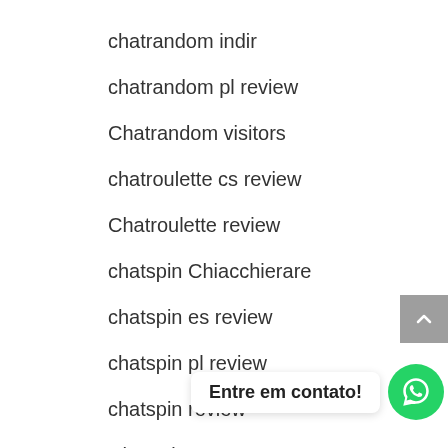chatrandom indir
chatrandom pl review
Chatrandom visitors
chatroulette cs review
Chatroulette review
chatspin Chiacchierare
chatspin es review
chatspin pl review
chatspin review
Chatspin vymazat
chatstep mobile site
chatstep reviews
Chatstep visitors
Entre em contato!